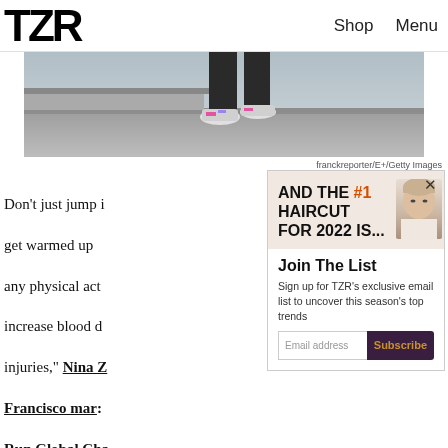TZR  Shop  Menu
[Figure (photo): Woman's legs and sneakers walking on concrete steps, partial view from waist down]
franckreporter/E+/Getty Images
Don't just jump into a run — get warmed up beforehand. Like any physical activity, warming up to increase blood flow can help prevent injuries," Nina Z — a San Francisco marathon runner and the Run Global Champion — told TZR. "It usually involves a few regular runs and some light arm and legs circling, or a bit of dynamic stretch. It
[Figure (screenshot): Popup advertisement overlay: AND THE #1 HAIRCUT FOR 2022 IS... with woman's face photo, Join The List email signup form with Email address input and Subscribe button]
Join The List
Sign up for TZR's exclusive email list to uncover this season's top trends